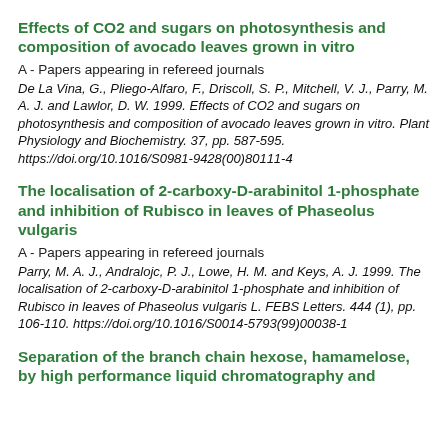Effects of CO2 and sugars on photosynthesis and composition of avocado leaves grown in vitro
A - Papers appearing in refereed journals
De La Vina, G., Pliego-Alfaro, F., Driscoll, S. P., Mitchell, V. J., Parry, M. A. J. and Lawlor, D. W. 1999. Effects of CO2 and sugars on photosynthesis and composition of avocado leaves grown in vitro. Plant Physiology and Biochemistry. 37, pp. 587-595. https://doi.org/10.1016/S0981-9428(00)80111-4
The localisation of 2-carboxy-D-arabinitol 1-phosphate and inhibition of Rubisco in leaves of Phaseolus vulgaris
A - Papers appearing in refereed journals
Parry, M. A. J., Andralojc, P. J., Lowe, H. M. and Keys, A. J. 1999. The localisation of 2-carboxy-D-arabinitol 1-phosphate and inhibition of Rubisco in leaves of Phaseolus vulgaris L. FEBS Letters. 444 (1), pp. 106-110. https://doi.org/10.1016/S0014-5793(99)00038-1
Separation of the branch chain hexose, hamamelose, by high performance liquid chromatography and...